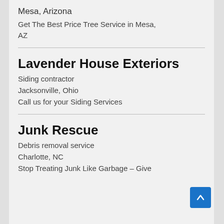Mesa, Arizona
Get The Best Price Tree Service in Mesa, AZ
Lavender House Exteriors
Siding contractor
Jacksonville, Ohio
Call us for your Siding Services
Junk Rescue
Debris removal service
Charlotte, NC
Stop Treating Junk Like Garbage – Give